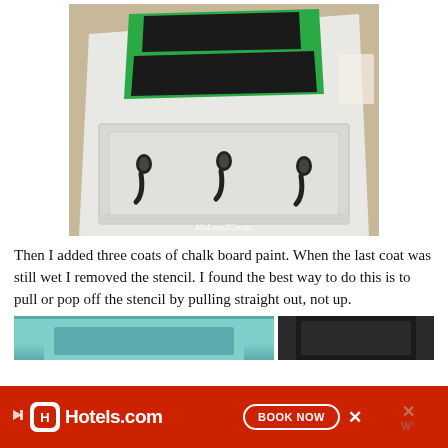[Figure (photo): A white wooden coat rack/key holder with three black hooks, photographed from above. Green painter's tape stencil is visible on the top panel with two rectangular areas painted in black chalkboard paint. The watermark 'MyLove2Create' is visible in the lower right corner of the photo.]
Then I added three coats of chalk board paint.  When the last coat was still wet I removed the stencil.  I found the best way to do this is to pull or pop off the stencil by pulling straight out, not up.
[Figure (photo): Two partial images at the bottom: left shows a teal/turquoise painted wooden piece, right shows a dark chalkboard surface.]
[Figure (screenshot): Advertisement banner for Hotels.com with red background, Hotels.com logo, and a BOOK NOW button. There is also an X close button and partial content visible behind.]